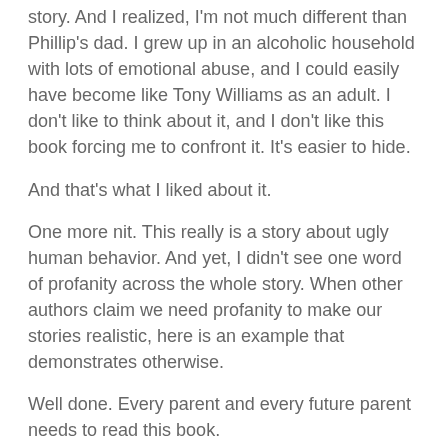story. And I realized, I'm not much different than Phillip's dad. I grew up in an alcoholic household with lots of emotional abuse, and I could easily have become like Tony Williams as an adult. I don't like to think about it, and I don't like this book forcing me to confront it. It's easier to hide.
And that's what I liked about it.
One more nit. This really is a story about ugly human behavior. And yet, I didn't see one word of profanity across the whole story. When other authors claim we need profanity to make our stories realistic, here is an example that demonstrates otherwise.
Well done. Every parent and every future parent needs to read this book.
• Your review should focus on specific features of the